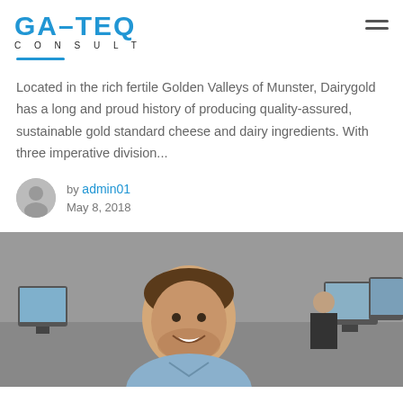GAFTEQ CONSULT — navigation header with hamburger menu
Located in the rich fertile Golden Valleys of Munster, Dairygold has a long and proud history of producing quality-assured, sustainable gold standard cheese and dairy ingredients. With three imperative division...
by admin01
May 8, 2018
[Figure (photo): Smiling man in a casual shirt in an office environment with other people and computer monitors in the background]